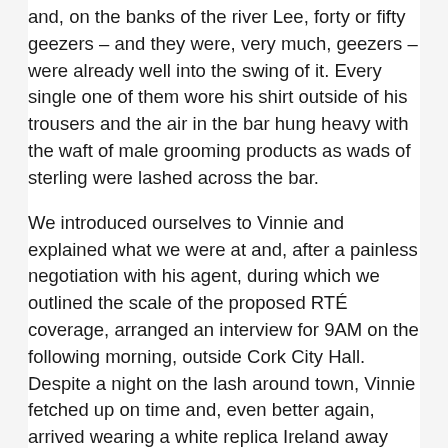and, on the banks of the river Lee, forty or fifty geezers – and they were, very much, geezers – were already well into the swing of it. Every single one of them wore his shirt outside of his trousers and the air in the bar hung heavy with the waft of male grooming products as wads of sterling were lashed across the bar.
We introduced ourselves to Vinnie and explained what we were at and, after a painless negotiation with his agent, during which we outlined the scale of the proposed RTÉ coverage, arranged an interview for 9AM on the following morning, outside Cork City Hall. Despite a night on the lash around town, Vinnie fetched up on time and, even better again, arrived wearing a white replica Ireland away top. Pat went to work on him, conducted a lovely interview – during which Vinnie stumbled over the word 'affidavit' – and, Joe McCarthy, the